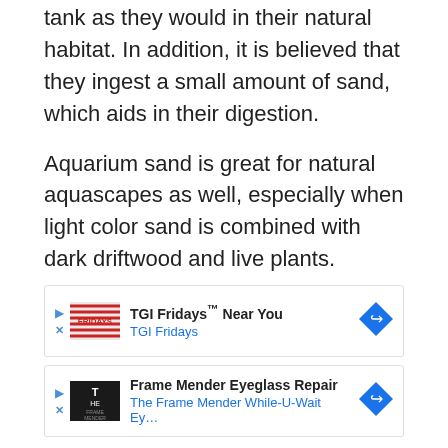tank as they would in their natural habitat. In addition, it is believed that they ingest a small amount of sand, which aids in their digestion.
Aquarium sand is great for natural aquascapes as well, especially when light color sand is combined with dark driftwood and live plants.
[Figure (other): Two advertisement boxes: 1) TGI Fridays Near You - TGI Fridays, with logo and navigation arrow icon. 2) Frame Mender Eyeglass Repair - The Frame Mender While-U-Wait Ey..., with logo and navigation arrow icon.]
[Figure (other): Care Guide banner image with large white bold text 'CARE GUIDE' on a dark green radial gradient background.]